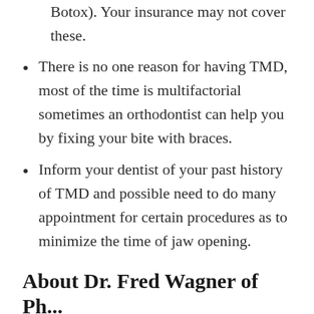Botox). Your insurance may not cover these.
There is no one reason for having TMD, most of the time is multifactorial sometimes an orthodontist can help you by fixing your bite with braces.
Inform your dentist of your past history of TMD and possible need to do many appointment for certain procedures as to minimize the time of jaw opening.
About Dr. Fred Wagner of Ph...